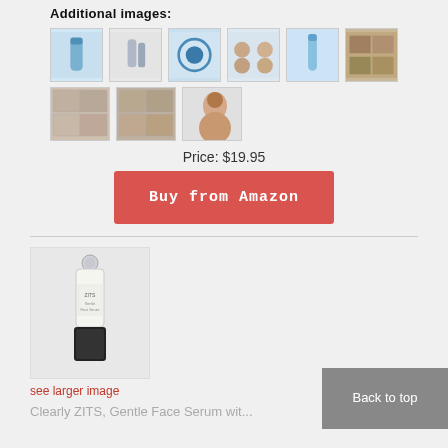Additional images:
[Figure (photo): Grid of 9 product thumbnail images for a skincare/beauty device]
Price: $19.95
[Figure (other): Red 'Buy from Amazon' button]
[Figure (photo): Product photo of Clearly ZITS Gentle Face Serum roller bottle]
see larger image
Clearly ZITS, Gentle Face Serum wit...